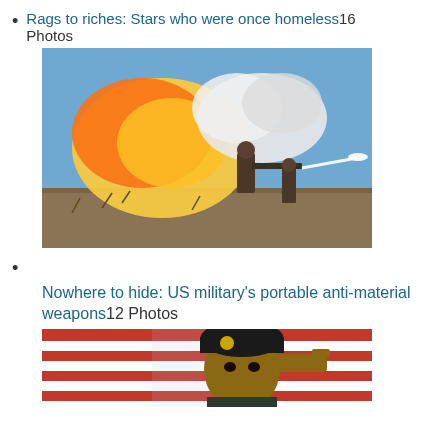Rags to riches: Stars who were once homeless16 Photos
[Figure (photo): US soldiers firing a portable anti-material rocket launcher in a field, with large explosion and smoke cloud visible]
Nowhere to hide: US military's portable anti-material weapons12 Photos
[Figure (photo): Soldier in uniform and beret saluting in front of an American flag]